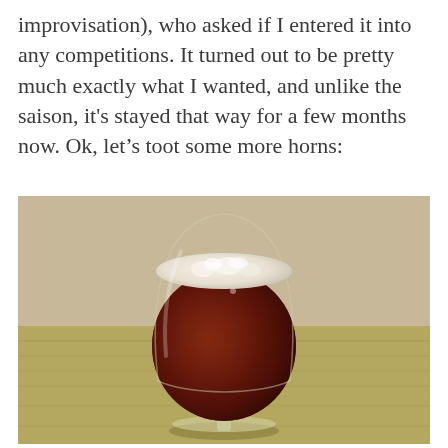improvisation), who asked if I entered it into any competitions. It turned out to be pretty much exactly what I wanted, and unlike the saison, it's stayed that way for a few months now. Ok, let's toot some more horns:
[Figure (photo): A glass of dark red-brown beer with a white foam head, sitting on a green-yellow textured surface against a light beige wall background. The glass is a tulip-style beer glass.]